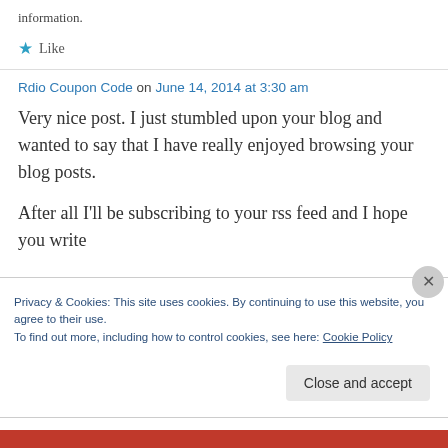information.
★ Like
Rdio Coupon Code on June 14, 2014 at 3:30 am
Very nice post. I just stumbled upon your blog and wanted to say that I have really enjoyed browsing your blog posts.

After all I'll be subscribing to your rss feed and I hope you write
Privacy & Cookies: This site uses cookies. By continuing to use this website, you agree to their use.
To find out more, including how to control cookies, see here: Cookie Policy
Close and accept